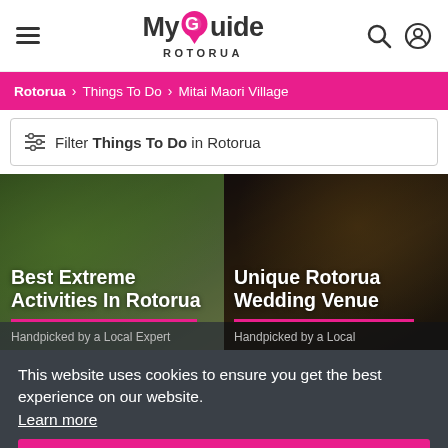MyGuide ROTORUA — navigation header with hamburger menu, logo, search and account icons
Rotorua > Things To Do > Mitai Maori Village
Filter Things To Do in Rotorua
[Figure (screenshot): Card: Best Extreme Activities In Rotorua — Handpicked by a Local Expert]
[Figure (screenshot): Card: Unique Rotorua Wedding Venue — Handpicked by a Local]
This website uses cookies to ensure you get the best experience on our website. Learn more
Got it!